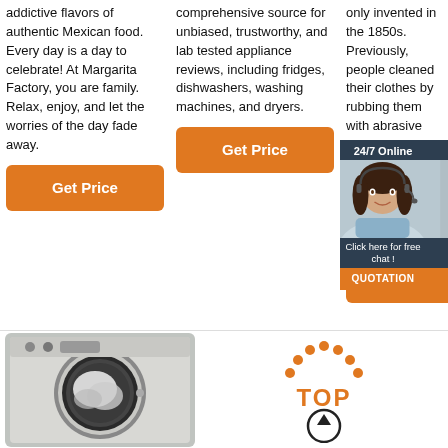addictive flavors of authentic Mexican food. Every day is a day to celebrate! At Margarita Factory, you are family. Relax, enjoy, and let the worries of the day fade away.
Get Price
comprehensive source for unbiased, trustworthy, and lab tested appliance reviews, including fridges, dishwashers, washing machines, and dryers.
Get Price
only invented in the 1850s. Previously, people cleaned their clothes by rubbing them with abrasive pounding rocks. The Romans, for instance, the crude made of from ani scarifies.
[Figure (infographic): 24/7 Online chat widget with woman customer service representative, click here for free chat, and QUOTATION button]
Get Price
[Figure (photo): Front-loading washing machine with open door and laundry inside]
[Figure (logo): TOP scroll-to-top logo with orange dots and circle arrow icon]